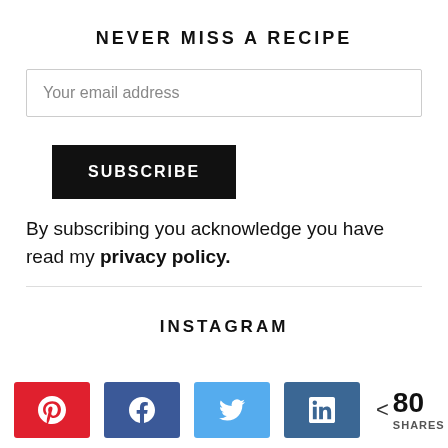NEVER MISS A RECIPE
Your email address
SUBSCRIBE
By subscribing you acknowledge you have read my privacy policy.
INSTAGRAM
< 80 SHARES